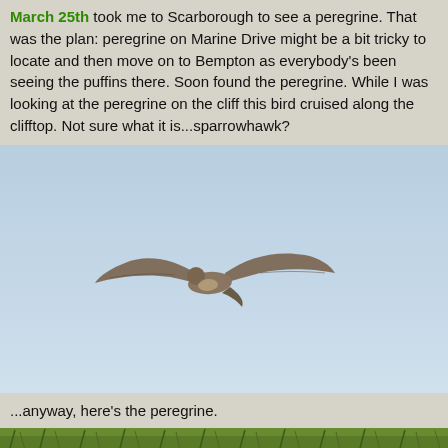March 25th took me to Scarborough to see a peregrine. That was the plan: peregrine on Marine Drive might be a bit tricky to locate and then move on to Bempton as everybody's been seeing the puffins there. Soon found the peregrine. While I was looking at the peregrine on the cliff this bird cruised along the clifftop. Not sure what it is...sparrowhawk?
[Figure (photo): A bird of prey (possible sparrowhawk) in flight against a light blue sky, wings spread, viewed from below/side, with a strip of green grass visible at the bottom of the image.]
...anyway, here's the peregrine.
[Figure (photo): Bottom portion of a photo showing green grass/clifftop vegetation.]